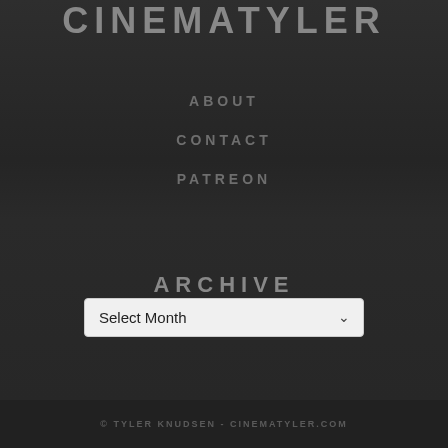CINEMATYLER
ABOUT
CONTACT
PATREON
ARCHIVE
Select Month
© TYLER KNUDSEN - CINEMATYLER.COM